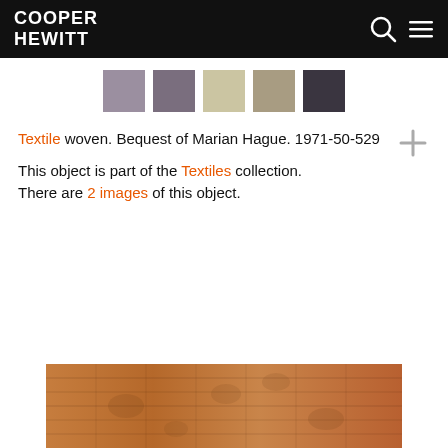COOPER HEWITT
[Figure (other): Five color swatches: muted lavender, muted purple, light beige/khaki, medium taupe, dark charcoal]
Textile woven. Bequest of Marian Hague. 1971-50-529
This object is part of the Textiles collection. There are 2 images of this object.
[Figure (photo): Partial view of a woven textile with a worn, aged appearance showing floral or decorative patterns in rust and brown tones]